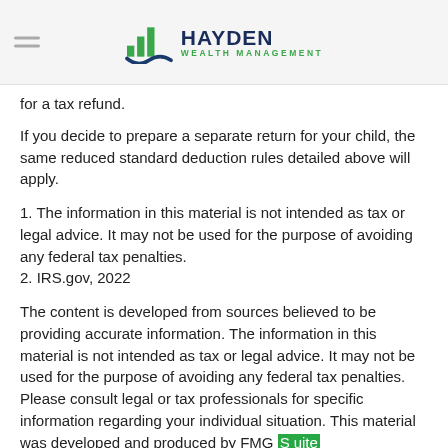Hayden Wealth Management
for a tax refund.
If you decide to prepare a separate return for your child, the same reduced standard deduction rules detailed above will apply.
1. The information in this material is not intended as tax or legal advice. It may not be used for the purpose of avoiding any federal tax penalties.
2. IRS.gov, 2022
The content is developed from sources believed to be providing accurate information. The information in this material is not intended as tax or legal advice. It may not be used for the purpose of avoiding any federal tax penalties. Please consult legal or tax professionals for specific information regarding your individual situation. This material was developed and produced by FMG Suite to provide information on a topic that may be of interest. FMG Suite is not affiliated with the named broker-dealer, state- or SEC-registered investment advisory firm. The opinions expressed and